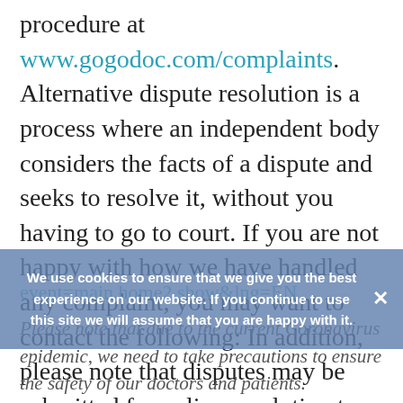procedure at www.gogodoc.com/complaints. Alternative dispute resolution is a process where an independent body considers the facts of a dispute and seeks to resolve it, without you having to go to court. If you are not happy with how we have handled any complaint, you may want to contact the following: In addition, please note that disputes may be submitted for online resolution to the European Commission Online Dispute Resolution Platform – https://ec.europa.eu/consumers/odr/main/index.cfm?event=main.home2.show&lng=EN
We use cookies to ensure that we give you the best experience on our website. If you continue to use this site we will assume that you are happy with it.
Please note that due to the current Coronavirus epidemic, we need to take precautions to ensure the safety of our doctors and patients.